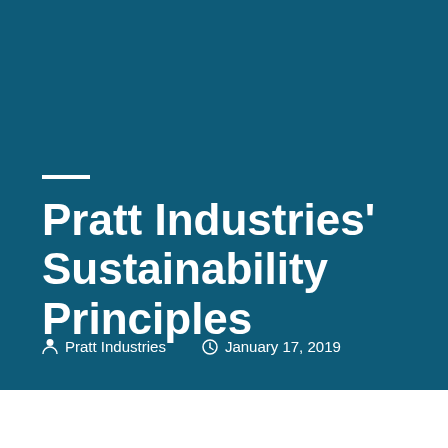Pratt Industries' Sustainability Principles
Pratt Industries   January 17, 2019